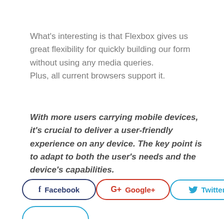What's interesting is that Flexbox gives us great flexibility for quickly building our form without using any media queries.
Plus, all current browsers support it.
With more users carrying mobile devices, it's crucial to deliver a user-friendly experience on any device. The key point is to adapt to both the user's needs and the device's capabilities.
[Figure (other): Social sharing buttons row: Facebook (dark blue outlined pill button with f icon), Google+ (red outlined pill button with G+ icon), Twitter (light blue outlined pill button with bird icon), and a partially visible button at the bottom]